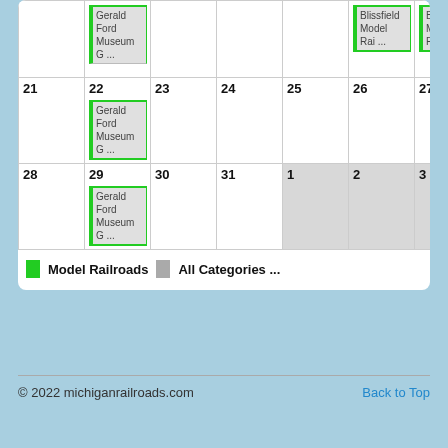| 21 | 22 | 23 | 24 | 25 | 26 | 27 |
| --- | --- | --- | --- | --- | --- | --- |
|  | Gerald Ford Museum G ... |  |  |  |  |  |
| 21 | 22 | 23 | 24 | 25 | 26 | 27 |
|  | Gerald Ford Museum G ... |  |  |  |  |  |
| 28 | 29 | 30 | 31 | 1 | 2 | 3 |
|  | Gerald Ford Museum G ... |  |  |  |  |  |
Model Railroads   All Categories ...
© 2022 michiganrailroads.com   Back to Top